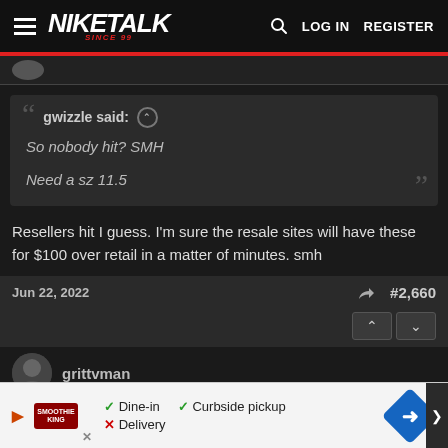NIKETALK SINCE 99 — LOG IN  REGISTER
gwizzle said: ↑
So nobody hit? SMH
Need a sz 11.5
Resellers hit I guess. I'm sure the resale sites will have these for $100 over retail in a matter of minutes. smh
Jun 22, 2022  #2,660
grittvman
[Figure (screenshot): Ad banner: Smoothie King restaurant ad with Dine-in checkmark, Curbside pickup checkmark, Delivery X, and blue navigation arrow icon]